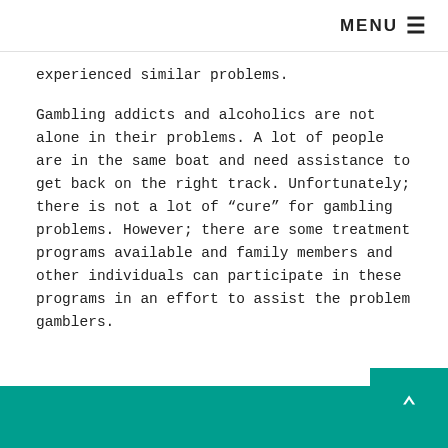MENU ☰
experienced similar problems.
Gambling addicts and alcoholics are not alone in their problems. A lot of people are in the same boat and need assistance to get back on the right track. Unfortunately; there is not a lot of “cure” for gambling problems. However; there are some treatment programs available and family members and other individuals can participate in these programs in an effort to assist the problem gamblers.